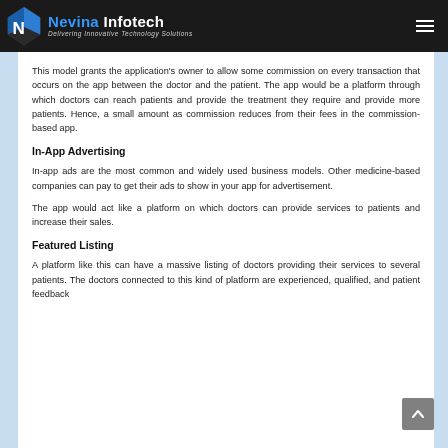Nevina Infotech — Delivering Innovative Technology Solutions
This model grants the application's owner to allow some commission on every transaction that occurs on the app between the doctor and the patient. The app would be a platform through which doctors can reach patients and provide the treatment they require and provide more patients. Hence, a small amount as commission reduces from their fees in the commission-based app.
In-App Advertising
In-app ads are the most common and widely used business models. Other medicine-based companies can pay to get their ads to show in your app for advertisement.
The app would act like a platform on which doctors can provide services to patients and increase their sales.
Featured Listing
A platform like this can have a massive listing of doctors providing their services to several patients. The doctors connected to this kind of platform are experienced, qualified, and patient feedback